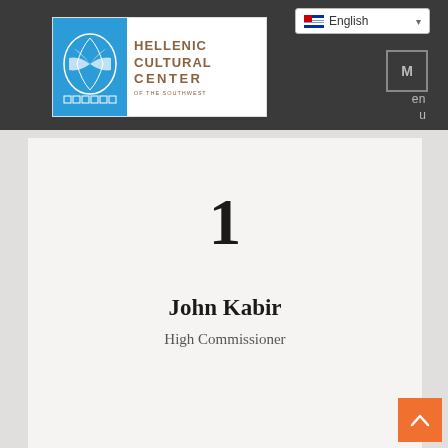Hellenic Cultural Center of the Southwest
English
M
en
u
1
John Kabir
High Commissioner